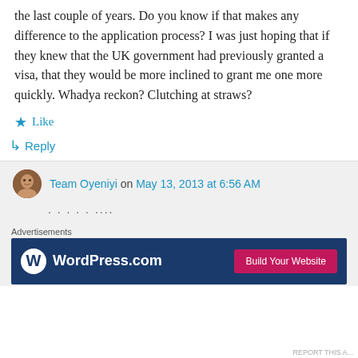the last couple of years. Do you know if that makes any difference to the application process? I was just hoping that if they knew that the UK government had previously granted a visa, that they would be more inclined to grant me one more quickly. Whadya reckon? Clutching at straws?
Like
Reply
Team Oyeniyi on May 13, 2013 at 6:56 AM
. . . . . ....
Advertisements
[Figure (other): WordPress.com advertisement banner with logo and 'Build Your Website' button]